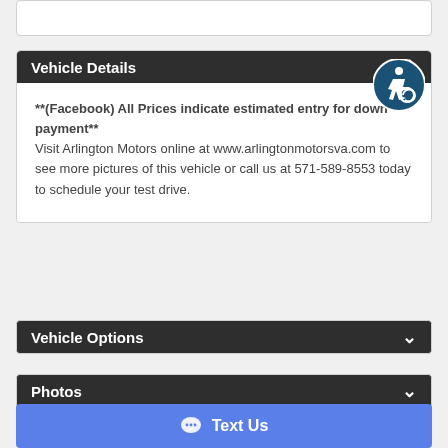Vehicle Details
**(Facebook) All Prices indicate estimated entry for down payment**
Visit Arlington Motors online at www.arlingtonmotorsva.com to see more pictures of this vehicle or call us at 571-589-8553 today to schedule your test drive.
Vehicle Options
Photos
Text Us